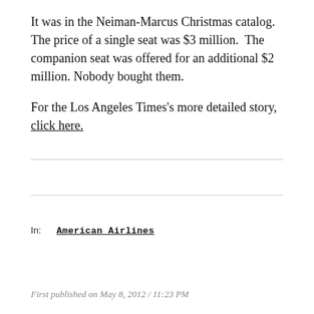It was in the Neiman-Marcus Christmas catalog. The price of a single seat was $3 million.  The companion seat was offered for an additional $2 million. Nobody bought them.
For the Los Angeles Times's more detailed story, click here.
In:    American Airlines
First published on May 8, 2012 / 11:23 PM